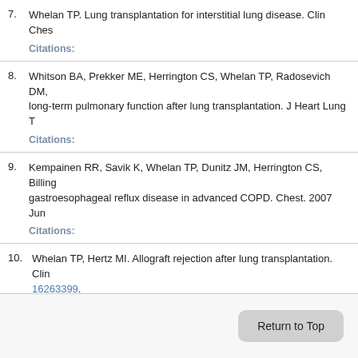7. Whelan TP. Lung transplantation for interstitial lung disease. Clin Ches… Citations:
8. Whitson BA, Prekker ME, Herrington CS, Whelan TP, Radosevich DM,… long-term pulmonary function after lung transplantation. J Heart Lung T… Citations:
9. Kempainen RR, Savik K, Whelan TP, Dunitz JM, Herrington CS, Billing… gastroesophageal reflux disease in advanced COPD. Chest. 2007 Jun… Citations:
10. Whelan TP, Hertz MI. Allograft rejection after lung transplantation. Clin… 16263399. Citations:
Return to Top